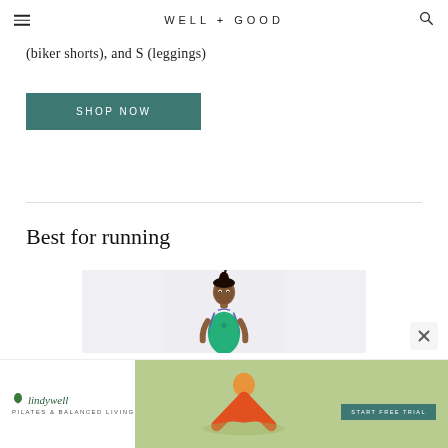WELL + GOOD
(biker shorts), and S (leggings)
SHOP NOW
Best for running
[Figure (photo): Woman wearing a green and purple athletic sports bra top, hair up, light gray background — running/fitness product photo]
[Figure (photo): Lindywell advertisement banner — Pilates & Balanced Living — with woman doing yoga pose and START FREE TRIAL button]